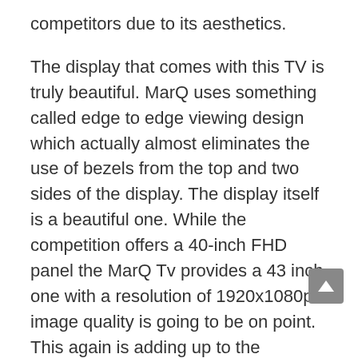competitors due to its aesthetics.
The display that comes with this TV is truly beautiful. MarQ uses something called edge to edge viewing design which actually almost eliminates the use of bezels from the top and two sides of the display. The display itself is a beautiful one. While the competition offers a 40-inch FHD panel the MarQ Tv provides a 43 inch one with a resolution of 1920x1080p image quality is going to be on point. This again is adding up to the immersive experience of the already big display.
The ports selection on the TV is very standard with 3 HDMI port and 2 USB port. The inclusion of the latest Bluetooth 5.0 is simply amazing. Other standard ports include an ethernet port and Audio/video ports.